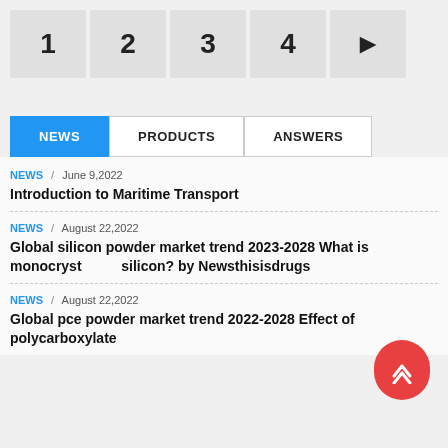1  2  3  4  ▶
NEWS  PRODUCTS  ANSWERS
NEWS / June 9,2022
Introduction to Maritime Transport
NEWS / August 22,2022
Global silicon powder market trend 2023-2028 What is monocrystalline silicon? by Newsthisisdrugs
NEWS / August 22,2022
Global pce powder market trend 2022-2028 Effect of polycarboxylate